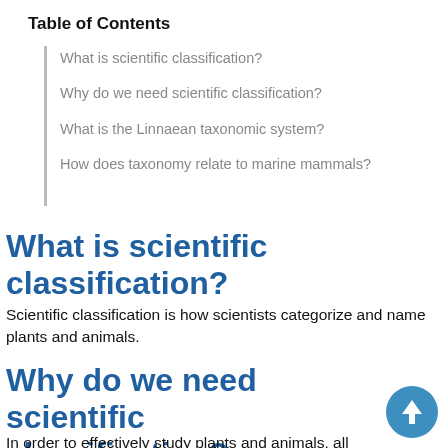Table of Contents
What is scientific classification?
Why do we need scientific classification?
What is the Linnaean taxonomic system?
How does taxonomy relate to marine mammals?
What is scientific classification?
Scientific classification is how scientists categorize and name plants and animals.
Why do we need scientific classification?
In order to effectively study plants and animals, all scientists need to use the same names and bring the...